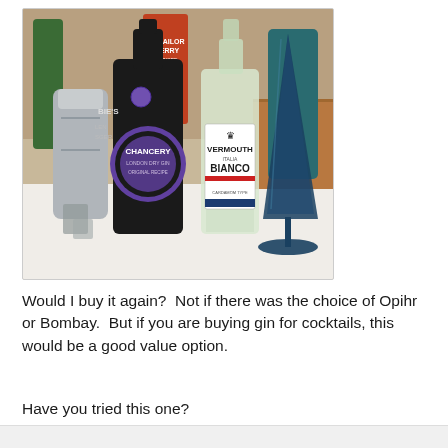[Figure (photo): Photo of a Chancery London Dry Gin bottle (dark bottle with purple circular label), a Vermouth Bianco bottle (clear/light green bottle with white label), and a dark teal/navy martini glass, arranged on a white countertop with various other bottles visible in the background.]
Would I buy it again?  Not if there was the choice of Opihr or Bombay.  But if you are buying gin for cocktails, this would be a good value option.
Have you tried this one?